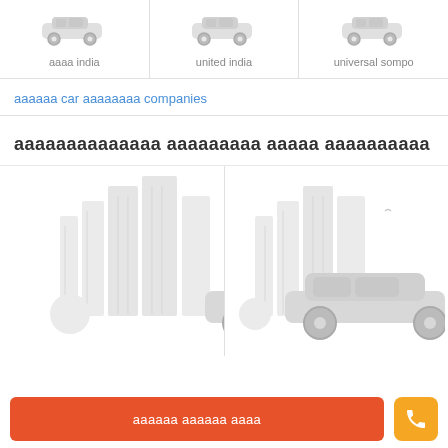[Figure (illustration): Three insurance company logos/icons: aaaa india, united india, universal sompo — each with a small car icon above the label]
aaaa india
united india
universal sompo
aaaaaa car aaaaaaaa companies
aaaaaaaaaaaaaa aaaaaaaaa aaaaa aaaaaaaaaa
[Figure (illustration): Two card panels each showing a city skyline illustration with a car silhouette in the foreground]
aaaaaa aaaaaa aaaa
[Figure (illustration): Phone call button icon (orange)]